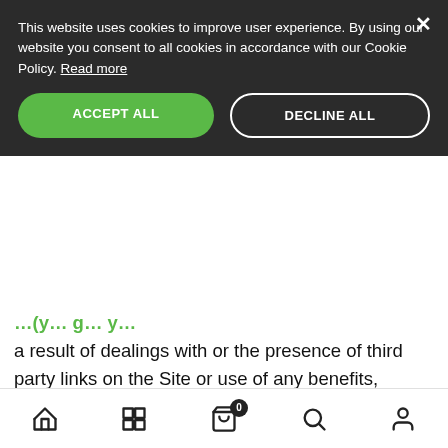This website uses cookies to improve user experience. By using our website you consent to all cookies in accordance with our Cookie Policy. Read more
ACCEPT ALL
DECLINE ALL
a result of dealings with or the presence of third party links on the Site or use of any benefits, rewards or points of the Program; (e) computer viruses, system failures or malfunctions which may occur in connection with your use of the Site, including during hyperlink to or from third party websites; (f) any inaccuracies or omissions in the Program content; or (g) events beyond our reasonable control. MDO Cosmetic Dermatology GmbH makes no representations or warranties that defects or errors will
Home | Grid | Cart (0) | Search | Account